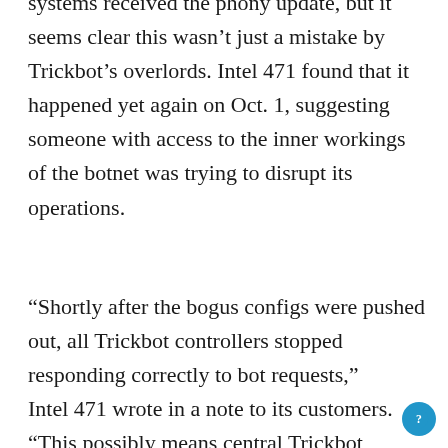systems received the phony update, but it seems clear this wasn't just a mistake by Trickbot's overlords. Intel 471 found that it happened yet again on Oct. 1, suggesting someone with access to the inner workings of the botnet was trying to disrupt its operations.
“Shortly after the bogus configs were pushed out, all Trickbot controllers stopped responding correctly to bot requests,” Intel 471 wrote in a note to its customers. “This possibly means central Trickbot controller